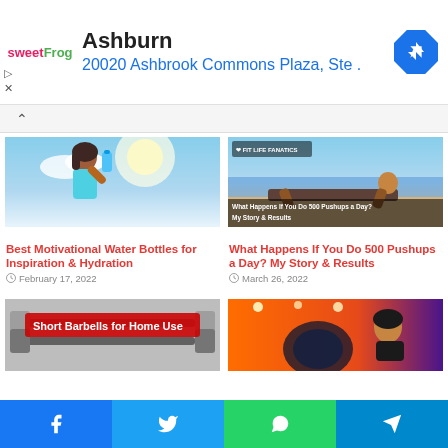[Figure (infographic): SweetFrog ad banner showing Ashburn location at 20020 Ashbrook Commons Plaza, Ste. with navigation icon]
Ashburn
20020 Ashbrook Commons Plaza, Ste .
[Figure (photo): Woman drinking from a blue water bottle against sunny sky]
Best Motivational Water Bottles for Inspiration & Hydration
February 17, 2022
[Figure (photo): Man doing pushups on a beach with overlay text: What Happens If You Do 500 Pushups a Day? My Story & Results, with Fit Life Fanatics logo]
What Happens If You Do 500 Pushups a Day? My Story & Results
March 26, 2022
[Figure (photo): Short Barbells for Home Use - image with red banner overlay text]
[Figure (photo): Woman on cardio machine in gym with orange background]